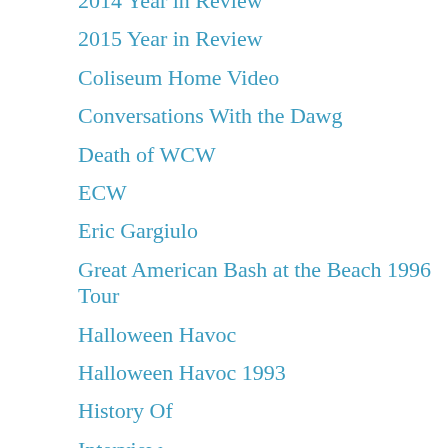2014 Year in Review
2015 Year in Review
Coliseum Home Video
Conversations With the Dawg
Death of WCW
ECW
Eric Gargiulo
Great American Bash at the Beach 1996 Tour
Halloween Havoc
Halloween Havoc 1993
History Of
Interview
Main Event Status Extra
NWA/WCW